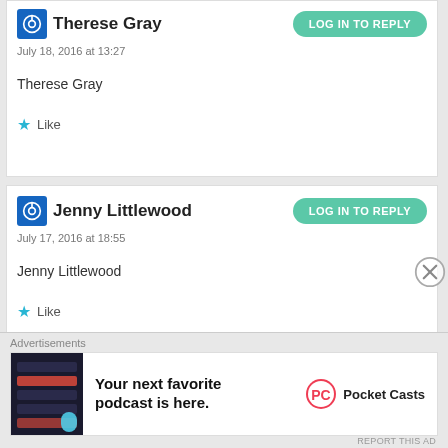Therese Gray
July 18, 2016 at 13:27
Therese Gray
Like
Jenny Littlewood
July 17, 2016 at 18:55
Jenny Littlewood
Like
Advertisements
Your next favorite podcast is here.
Pocket Casts
REPORT THIS AD